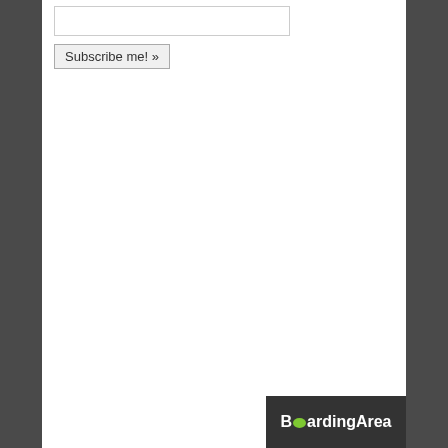Subscribe me! »
[Figure (logo): BoardingArea logo — dark background with white bold text, the 'o' replaced by a green speech bubble icon]